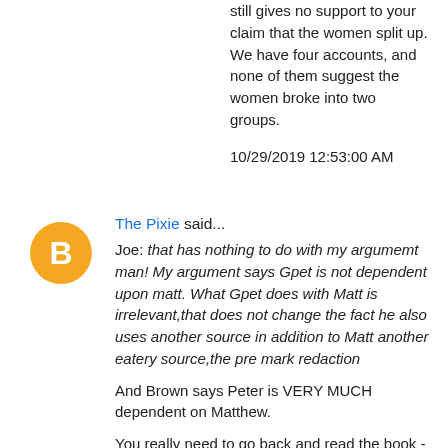still gives no support to your claim that the women split up. We have four accounts, and none of them suggest the women broke into two groups.
10/29/2019 12:53:00 AM
[Figure (illustration): Orange circular blogger avatar icon with white 'B' logo in center]
The Pixie said...
Joe: that has nothing to do with my argumemt man! My argument says Gpet is not dependent upon matt. What Gpet does with Matt is irrelevant,that does not change the fact he also uses another source in addition to Matt another eatery source,the pre mark redaction
And Brown says Peter is VERY MUCH dependent on Matthew.
You really need to go back and read the book - or at least the section "Overall Proposal About Composition Based on Sequence and Content", which is from page 1332 to 1336, where Brown first looks at alternatives, and why they fail,